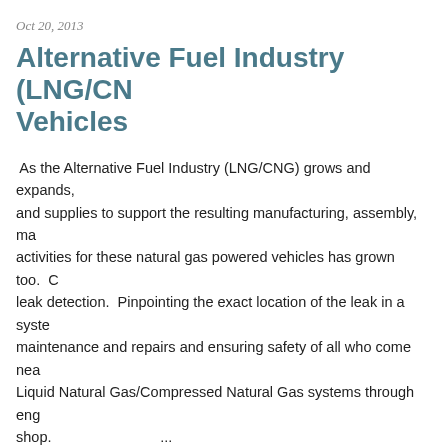Oct 20, 2013
Alternative Fuel Industry (LNG/CNG) Vehicles
As the Alternative Fuel Industry (LNG/CNG) grows and expands, and supplies to support the resulting manufacturing, assembly, ma activities for these natural gas powered vehicles has grown too. C leak detection.  Pinpointing the exact location of the leak in a syste maintenance and repairs and ensuring safety of all who come nea Liquid Natural Gas/Compressed Natural Gas systems through eng shop.                          ...
Read more →
Alternative Fuel, best leak detection fluid, best products for leak detection, best way to indentify gas leak, bubble leak testing, California Metro, Compressed Natural Gas, cost effective leak detection, Cummins, film solution leak test, gas leak, gas leak detection, gas leak detection fluid, gas leak identification, gas leak testing, HD-LDF-C, industrial gas leak, Industrial gas leak detection, industrial leaks, leak detection, leak detection fluid, leak testing, Leak testing gas, Liquid Natural Gas, natural gas leak detection fluid, natural gas powered vehicles, Natural Gas Refueling Station, Natural